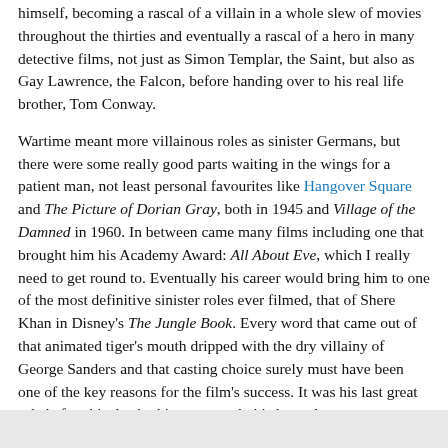himself, becoming a rascal of a villain in a whole slew of movies throughout the thirties and eventually a rascal of a hero in many detective films, not just as Simon Templar, the Saint, but also as Gay Lawrence, the Falcon, before handing over to his real life brother, Tom Conway.
Wartime meant more villainous roles as sinister Germans, but there were some really good parts waiting in the wings for a patient man, not least personal favourites like Hangover Square and The Picture of Dorian Gray, both in 1945 and Village of the Damned in 1960. In between came many films including one that brought him his Academy Award: All About Eve, which I really need to get round to. Eventually his career would bring him to one of the most definitive sinister roles ever filmed, that of Shere Khan in Disney's The Jungle Book. Every word that came out of that animated tiger's mouth dripped with the dry villainy of George Sanders and that casting choice surely must have been one of the key reasons for the film's success. It was his last great role before his death, this was merely his last role.